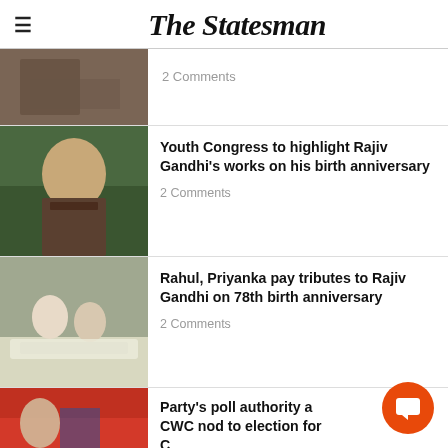The Statesman
2 Comments
Youth Congress to highlight Rajiv Gandhi's works on his birth anniversary
2 Comments
Rahul, Priyanka pay tributes to Rajiv Gandhi on 78th birth anniversary
2 Comments
Party's poll authority and CWC nod to election for Congress president